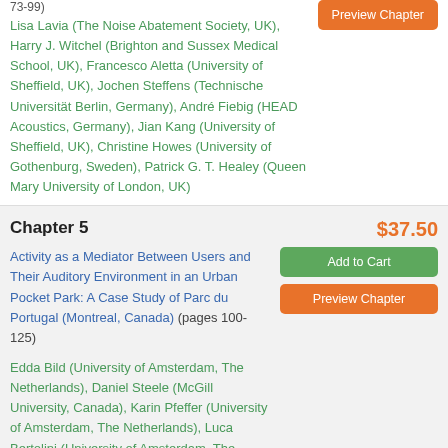73-99)
Lisa Lavia (The Noise Abatement Society, UK), Harry J. Witchel (Brighton and Sussex Medical School, UK), Francesco Aletta (University of Sheffield, UK), Jochen Steffens (Technische Universität Berlin, Germany), André Fiebig (HEAD Acoustics, Germany), Jian Kang (University of Sheffield, UK), Christine Howes (University of Gothenburg, Sweden), Patrick G. T. Healey (Queen Mary University of London, UK)
Chapter 5
$37.50
Activity as a Mediator Between Users and Their Auditory Environment in an Urban Pocket Park: A Case Study of Parc du Portugal (Montreal, Canada) (pages 100-125)
Add to Cart
Preview Chapter
Edda Bild (University of Amsterdam, The Netherlands), Daniel Steele (McGill University, Canada), Karin Pfeffer (University of Amsterdam, The Netherlands), Luca Bertolini (University of Amsterdam, The Netherlands), Catherine Guastavino (McGill University, Canada)